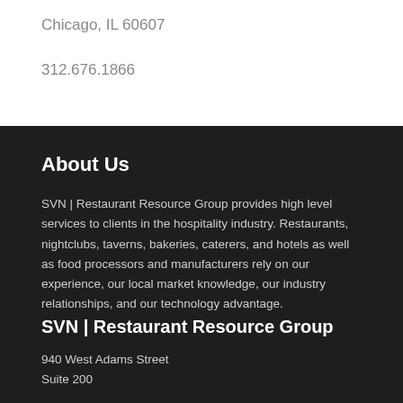Chicago, IL 60607
312.676.1866
About Us
SVN | Restaurant Resource Group provides high level services to clients in the hospitality industry. Restaurants, nightclubs, taverns, bakeries, caterers, and hotels as well as food processors and manufacturers rely on our experience, our local market knowledge, our industry relationships, and our technology advantage.
SVN | Restaurant Resource Group
940 West Adams Street
Suite 200